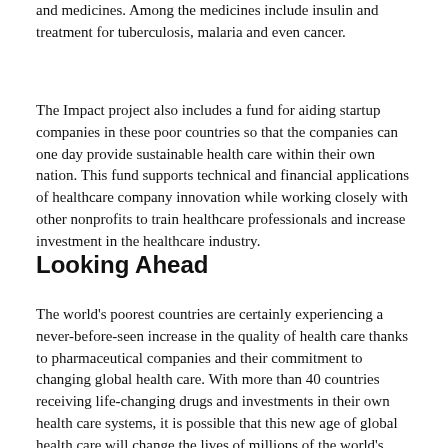and medicines. Among the medicines include insulin and treatment for tuberculosis, malaria and even cancer.
The Impact project also includes a fund for aiding startup companies in these poor countries so that the companies can one day provide sustainable health care within their own nation. This fund supports technical and financial applications of healthcare company innovation while working closely with other nonprofits to train healthcare professionals and increase investment in the healthcare industry.
Looking Ahead
The world's poorest countries are certainly experiencing a never-before-seen increase in the quality of health care thanks to pharmaceutical companies and their commitment to changing global health care. With more than 40 countries receiving life-changing drugs and investments in their own health care systems, it is possible that this new age of global health care will change the lives of millions of the world's poor.